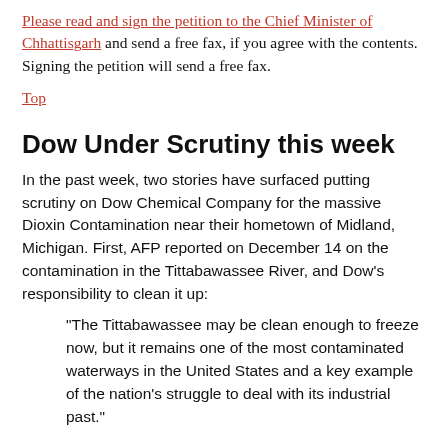Please read and sign the petition to the Chief Minister of Chhattisgarh and send a free fax, if you agree with the contents. Signing the petition will send a free fax.
Top
Dow Under Scrutiny this week
In the past week, two stories have surfaced putting scrutiny on Dow Chemical Company for the massive Dioxin Contamination near their hometown of Midland, Michigan. First, AFP reported on December 14 on the contamination in the Tittabawassee River, and Dow’s responsibility to clean it up:
“The Tittabawassee may be clean enough to freeze now, but it remains one of the most contaminated waterways in the United States and a key example of the nation’s struggle to deal with its industrial past.”